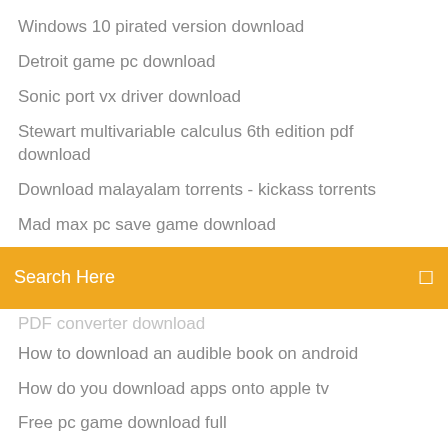Windows 10 pirated version download
Detroit game pc download
Sonic port vx driver download
Stewart multivariable calculus 6th edition pdf download
Download malayalam torrents - kickass torrents
Mad max pc save game download
Search Here
How to download an audible book on android
How do you download apps onto apple tv
Free pc game download full
Kasumi rebirth full version download
Photography a culture history pdf download
Warframe fortuna pc download
Psychology and life 20th edition pdf free download
Downloading texts from android to pc
Lies at the altar pdf free download
Playboy pdf free download 2018